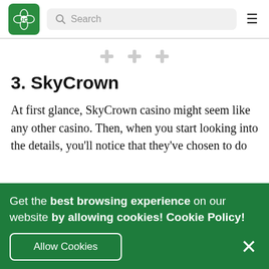Luck [logo] | Search | [hamburger menu]
[Figure (other): Three decorative cross/plus symbols in light gray arranged horizontally]
3. SkyCrown
At first glance, SkyCrown casino might seem like any other casino. Then, when you start looking into the details, you'll notice that they've chosen to do
Get the best browsing experience on our website by allowing cookies! Cookie Policy!
Allow Cookies